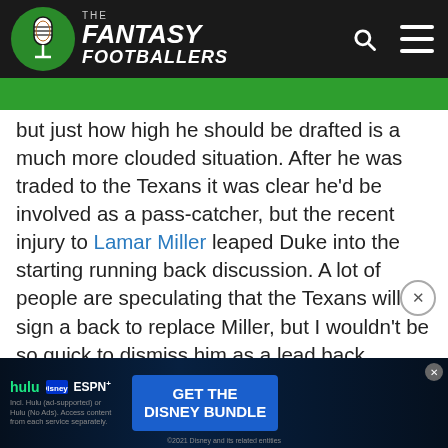The Fantasy Footballers
but just how high he should be drafted is a much more clouded situation. After he was traded to the Texans it was clear he'd be involved as a pass-catcher, but the recent injury to Lamar Miller leaped Duke into the starting running back discussion. A lot of people are speculating that the Texans will sign a back to replace Miller, but I wouldn't be so quick to dismiss him as a lead back. Duke's pass-catching chops are well documented, but his lack of volume isn't because he can't handle it. The Browns used Duke in a satellite role during his time there but it doesn't mean he can't see a bigger workload. In his se... [ad obscured] ...over 18 ca... [ad obscured] ...PC
[Figure (screenshot): Disney Bundle advertisement banner with Hulu, Disney+, and ESPN+ logos and 'GET THE DISNEY BUNDLE' call to action button]